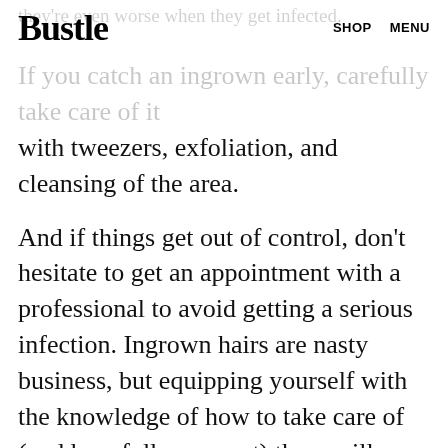Bustle   SHOP   MENU
they're even worse when they get infected. If you catch an ingrown early, carefully take care of it with tweezers, exfoliation, and cleansing of the area.
And if things get out of control, don't hesitate to get an appointment with a professional to avoid getting a serious infection. Ingrown hairs are nasty business, but equipping yourself with the knowledge of how to take care of (and hopefully, prevent) them will leave you smooth and infection-free.
Images: Alexander Golubev / 500px/500Px Plus/Getty Images, Courtesy Brands